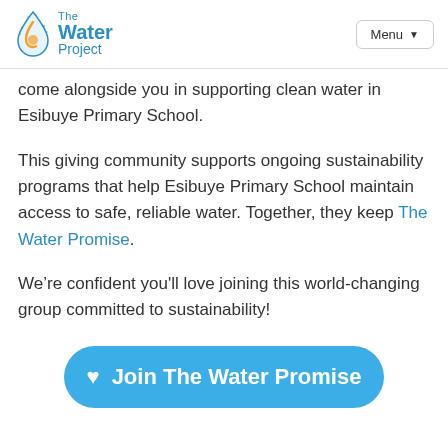The Water Project | Menu
come alongside you in supporting clean water in Esibuye Primary School.
This giving community supports ongoing sustainability programs that help Esibuye Primary School maintain access to safe, reliable water. Together, they keep The Water Promise.
We’re confident you'll love joining this world-changing group committed to sustainability!
[Figure (other): Blue rounded button with heart icon and text 'Join The Water Promise']